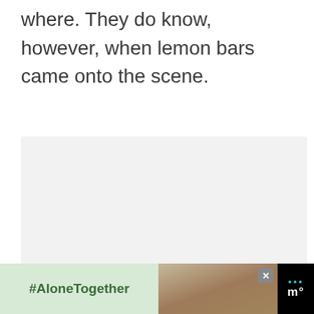where. They do know, however, when lemon bars came onto the scene.
[Figure (photo): Large light gray placeholder image area]
[Figure (infographic): UI overlay with heart/favorite button (teal), count badge showing 56, and share button]
[Figure (screenshot): Advertisement banner at bottom: #AloneTogether hashtag on green background, photo of people waving, close button, and Meredith logo]